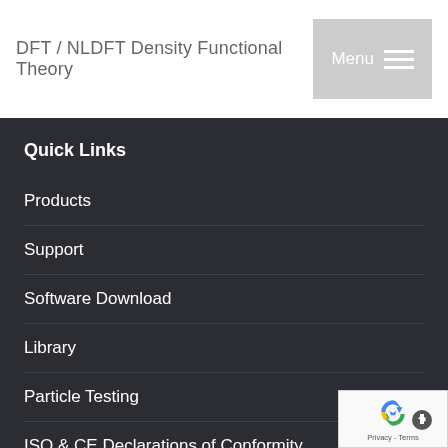DFT / NLDFT Density Functional Theory
Quick Links
Products
Support
Software Download
Library
Particle Testing
ISO & CE Declarations of Conformity